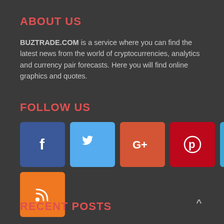ABOUT US
BUZTRADE.COM is a service where you can find the latest news from the world of cryptocurrencies, analytics and currency pair forecasts. Here you will find online graphics and quotes.
FOLLOW US
[Figure (infographic): Row of social media icon buttons: Facebook (blue), Twitter (light blue), Google+ (orange-red), Pinterest (dark red), LinkedIn (blue), Instagram (indigo), Dribbble (pink). Second row: RSS (orange).]
RECENT POSTS